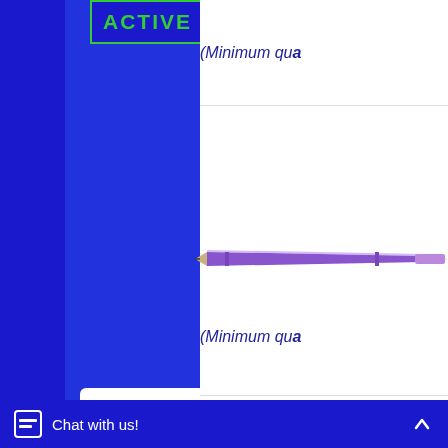[Figure (screenshot): ACTIVE badge with green text on dark blue background]
(Minimum qua
[Figure (photo): Purple metallic pencil pointing left]
(Minimum qua
[Figure (logo): Secured by GeoTrust badge - white rounded rectangle with GeoTrust logo and text]
[Figure (photo): Natural wood pencil pointing left]
(Minimum qua
Chat with us!